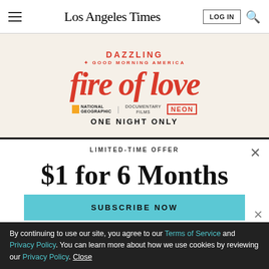Los Angeles Times
[Figure (photo): Fire of Love documentary movie advertisement banner. Text reads: DAZZLING - GOOD MORNING AMERICA, Fire of Love, National Geographic Documentary Films, NEON, ONE NIGHT ONLY]
LIMITED-TIME OFFER
$1 for 6 Months
SUBSCRIBE NOW
By continuing to use our site, you agree to our Terms of Service and Privacy Policy. You can learn more about how we use cookies by reviewing our Privacy Policy. Close